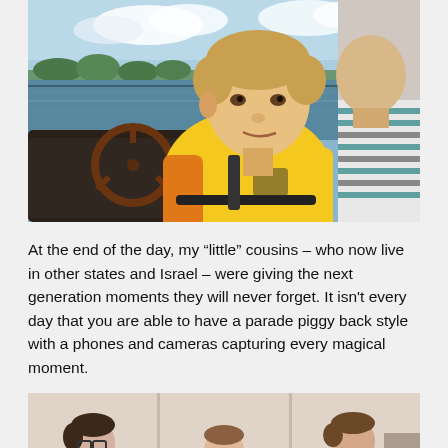[Figure (photo): A young boy wearing a yellow and orange life jacket sits at the steering wheel of a boat on a lake. The sky is blue with clouds. Another person in a striped shirt is partially visible on the right.]
At the end of the day, my “little” cousins – who now live in other states and Israel – were giving the next generation moments they will never forget. It isn’t every day that you are able to have a parade piggy back style with a phones and cameras capturing every magical moment.
[Figure (photo): Indoor photo showing children in a room. Three children are visible: one with glasses on the left, one in the middle, and one in a green shirt on the right.]